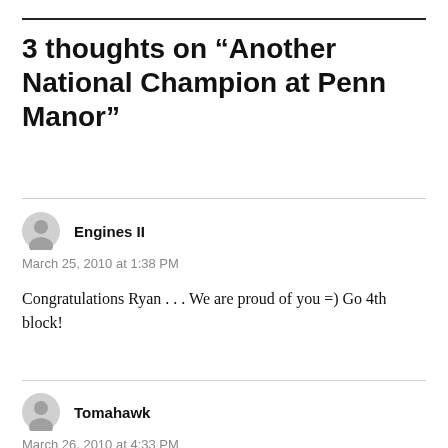3 thoughts on “Another National Champion at Penn Manor”
Engines II
March 25, 2010 at 1:38 PM
Congratulations Ryan . . . We are proud of you =) Go 4th block!
Tomahawk
March 26, 2010 at 4:33 PM